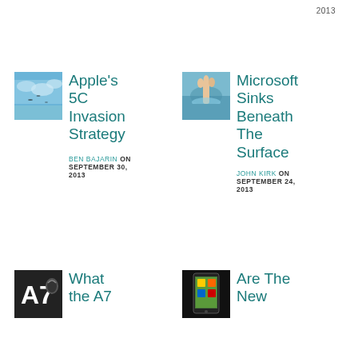2013
[Figure (photo): Thumbnail image of sky with birds for Apple's 5C Invasion Strategy article]
Apple's 5C Invasion Strategy
BEN BAJARIN ON SEPTEMBER 30, 2013
[Figure (photo): Thumbnail image of hand reaching out of water for Microsoft Sinks Beneath The Surface article]
Microsoft Sinks Beneath The Surface
JOHN KIRK ON SEPTEMBER 24, 2013
[Figure (photo): Thumbnail image of A7 chip logo for What the A7 article]
What the A7
[Figure (photo): Thumbnail image of tablet device for Are The New article]
Are The New